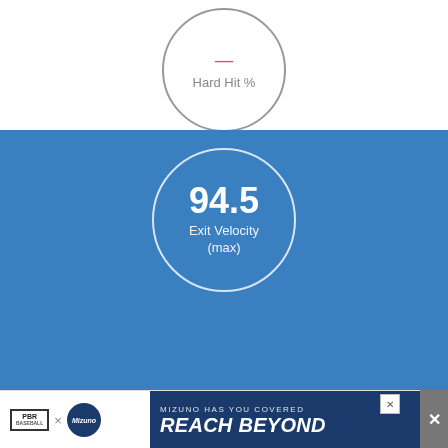[Figure (infographic): Circle indicator for Hard Hit % with orange dash symbol and gray label text on white background]
[Figure (infographic): Circle on blue background showing Exit Velocity (max) value of 94.5 in bold white text]
[Figure (infographic): Circle on blue background showing Exit Velocity (avg) with dash placeholder in white text]
[Figure (infographic): WER text in large white letters on blue background with orange baseball batter figure/logo]
[Figure (infographic): Advertisement banner: PBR x Mizuno - MIZUNO HAS YOU COVERED / REACH BEYOND with close button]